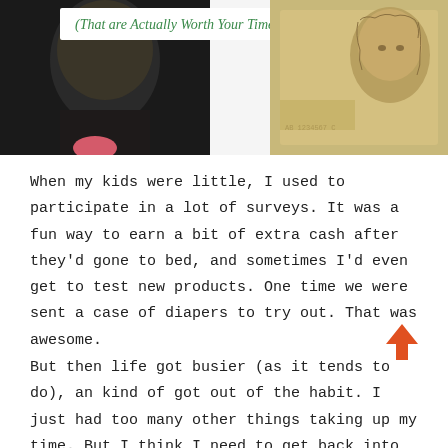[Figure (photo): Top portion of a blog page showing partial images: left side shows a partial portrait/face photo with dark background and a pink/red element, and right side shows a photo of currency/banknotes with text in green reading '(That are Actually Worth Your Time)']
When my kids were little, I used to participate in a lot of surveys. It was a fun way to earn a bit of extra cash after they'd gone to bed, and sometimes I'd even get to test new products. One time we were sent a case of diapers to try out. That was awesome.
But then life got busier (as it tends to do), an kind of got out of the habit. I just had too many other things taking up my time. But I think I need to get back into the habit. Because with a